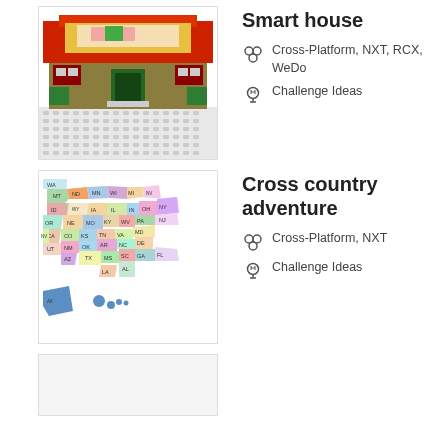[Figure (photo): LEGO smart house model with red roof, green walls, windows, and white baseplate]
Smart house
Cross-Platform, NXT, RCX, WeDo
Challenge Ideas
[Figure (map): Colorful US states map with state abbreviations labeled]
Cross country adventure
Cross-Platform, NXT
Challenge Ideas
[Figure (photo): Partially visible thumbnail of a third item]